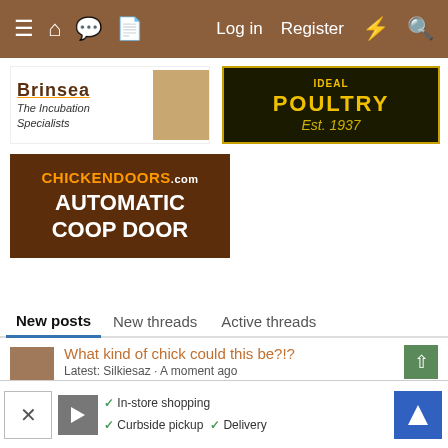Log in  Register
[Figure (screenshot): Brinsea The Incubation Specialists advertisement with chick photo]
[Figure (screenshot): Ideal Poultry Est. 1937 advertisement with yellow and black design]
[Figure (screenshot): ChickenDoors.com Automatic Coop Door advertisement]
New posts  New threads  Active threads
What kind of chick could this be?!? Latest: Silkiesaz · A moment ago What Breed Or Gender is This?
Blue Leghorn Hens? Latest: BigBlueHen53 · A moment ago What Breed Or Gender is This?
[Figure (screenshot): Bottom advertisement overlay with In-store shopping, Curbside pickup, Delivery options]